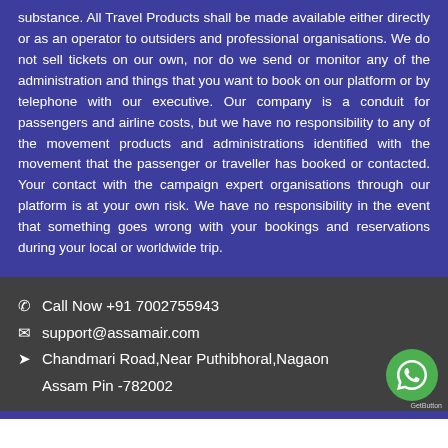substance. All Travel Products shall be made available either directly or as an operator to outsiders and professional organisations. We do not sell tickets on our own, nor do we send or monitor any of the administration and things that you want to book on our platform or by telephone with our executive. Our company is a conduit for passengers and airline costs, but we have no responsibility to any of the movement products and administrations identified with the movement that the passenger or traveller has booked or contacted. Your contact with the campaign expert organisations through our platform is at your own risk. We have no responsibility in the event that something goes wrong with your bookings and reservations during your local or worldwide trip.
Call Now +91 7002755943
support@assamair.com
Chandmari Road,Near Puthibhoral,Nagaon
Assam Pin -782002